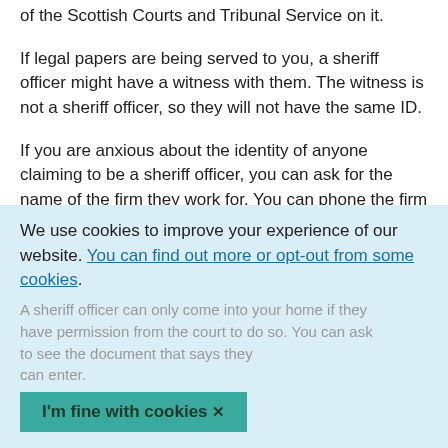of the Scottish Courts and Tribunal Service on it.
If legal papers are being served to you, a sheriff officer might have a witness with them. The witness is not a sheriff officer, so they will not have the same ID.
If you are anxious about the identity of anyone claiming to be a sheriff officer, you can ask for the name of the firm they work for. You can phone the firm to confirm their identity.
Sheriff officers' power to enter
We use cookies to improve your experience of our website. You can find out more or opt-out from some cookies.
A sheriff officer can only come into your home if they have permission from the court to do so. You can ask to see the document that says they can enter.